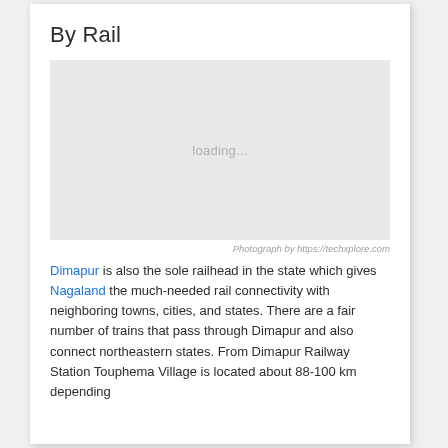By Rail
[Figure (photo): A loading placeholder image (grey rectangle with 'loading...' text) representing a photograph credited to https://techxplore.com]
Photograph by https://techxplore.com
Dimapur is also the sole railhead in the state which gives Nagaland the much-needed rail connectivity with neighboring towns, cities, and states. There are a fair number of trains that pass through Dimapur and also connect northeastern states. From Dimapur Railway Station Touphema Village is located about 88-100 km depending